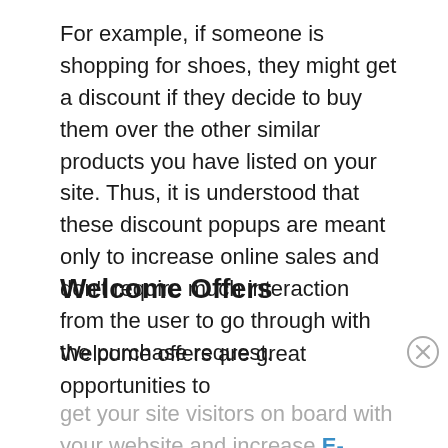For example, if someone is shopping for shoes, they might get a discount if they decide to buy them over the other similar products you have listed on your site. Thus, it is understood that these discount popups are meant only to increase online sales and don't require much interaction from the user to go through with the purchase request.
Welcome Offers
Welcome offers are great opportunities to get your site visitors on board with your website and increase E-commerce sales